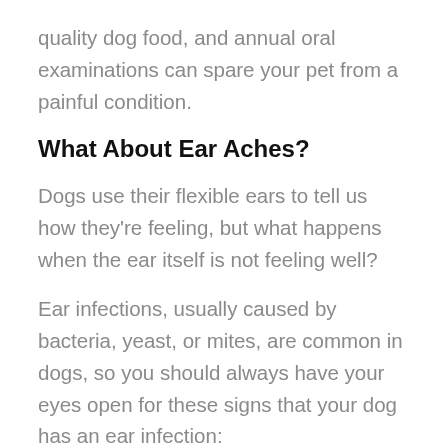quality dog food, and annual oral examinations can spare your pet from a painful condition.
What About Ear Aches?
Dogs use their flexible ears to tell us how they're feeling, but what happens when the ear itself is not feeling well?
Ear infections, usually caused by bacteria, yeast, or mites, are common in dogs, so you should always have your eyes open for these signs that your dog has an ear infection: